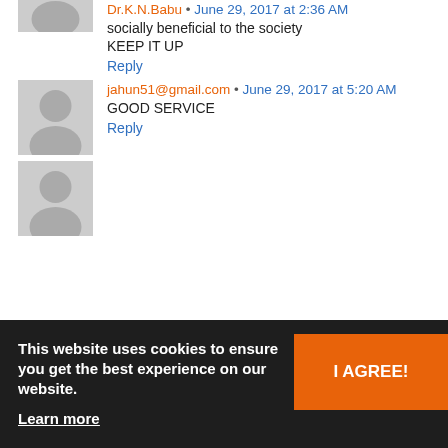[Figure (illustration): Gray avatar placeholder icon (partial, cropped at top)]
Dr.K.N.Babu • June 29, 2017 at 2:36 AM
socially beneficial to the society
KEEP IT UP
Reply
[Figure (illustration): Gray avatar placeholder icon]
jahun51@gmail.com • June 29, 2017 at 5:20 AM
GOOD SERVICE
Reply
[Figure (illustration): Gray avatar placeholder icon]
dharmendra yadav • June 29, 2017 at 8:27 AM
GOOD
Reply
This website uses cookies to ensure you get the best experience on our website. Learn more